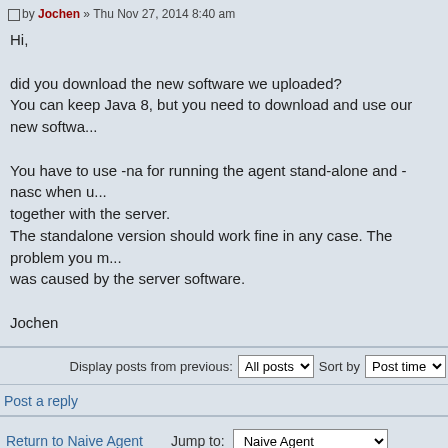by Jochen » Thu Nov 27, 2014 8:40 am
Hi,

did you download the new software we uploaded?
You can keep Java 8, but you need to download and use our new softwa...

You have to use -na for running the agent stand-alone and -nasc when u... together with the server.
The standalone version should work fine in any case. The problem you m... was caused by the server software.

Jochen
Display posts from previous: All posts Sort by Post time
Post a reply
Return to Naive Agent
Jump to: Naive Agent
WHO IS ONLINE
Users browsing this forum: No registered users and 1 guest
Board index   The team • Delete all board co...